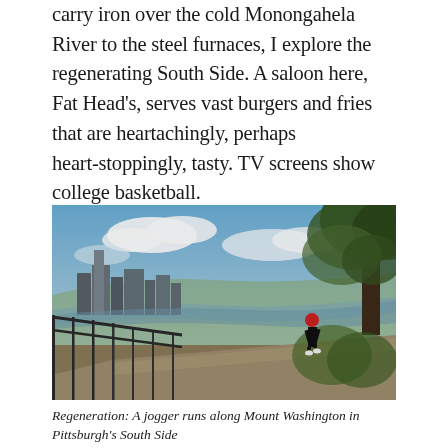carry iron over the cold Monongahela River to the steel furnaces, I explore the regenerating South Side. A saloon here, Fat Head's, serves vast burgers and fries that are heartachingly, perhaps heart-stoppingly, tasty. TV screens show college basketball.
[Figure (photo): A jogger runs along a walkway on Mount Washington with a metal railing on the left, trees overhead on the right, and the Pittsburgh city skyline and river visible in the background under a partly cloudy sky.]
Regeneration: A jogger runs along Mount Washington in Pittsburgh's South Side